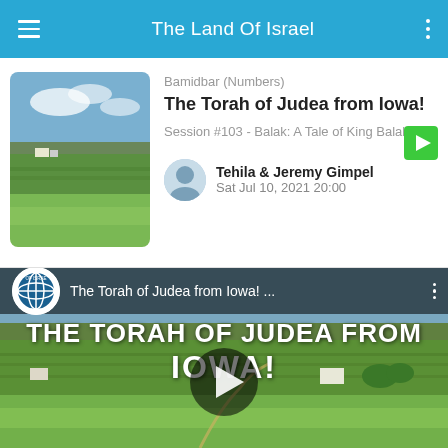The Land Of Israel
Bamidbar (Numbers)
The Torah of Judea from Iowa!
Session #103 - Balak: A Tale of King Balak
[Figure (photo): Thumbnail image of green Iowa farmland countryside]
Tehila & Jeremy Gimpel
Sat Jul 10, 2021 20:00
[Figure (screenshot): Video thumbnail showing 'THE TORAH OF JUDEA FROM IOWA!' in large white text over Iowa farmland, with The Land of Israel Network logo, video title bar, and play button overlay]